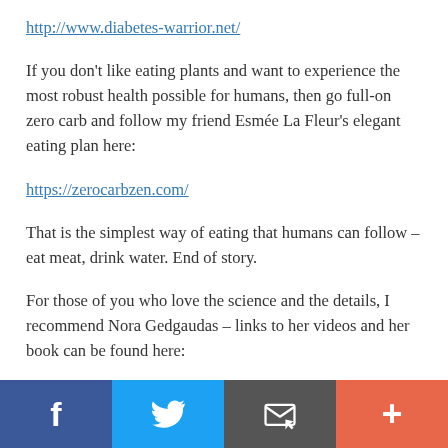http://www.diabetes-warrior.net/
If you don't like eating plants and want to experience the most robust health possible for humans, then go full-on zero carb and follow my friend Esmée La Fleur's elegant eating plan here:
https://zerocarbzen.com/
That is the simplest way of eating that humans can follow – eat meat, drink water. End of story.
For those of you who love the science and the details, I recommend Nora Gedgaudas – links to her videos and her book can be found here:
Social share bar: Facebook, Twitter, Email, Plus